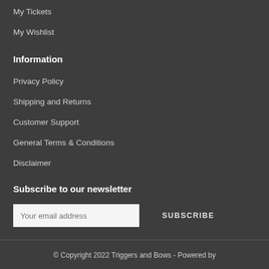My Tickets
My Wishlist
Information
Privacy Policy
Shipping and Returns
Customer Support
General Terms & Conditions
Disclaimer
Subscribe to our newsletter
Your email address
SUBSCRIBE
© Copyright 2022 Triggers and Bows - Powered by